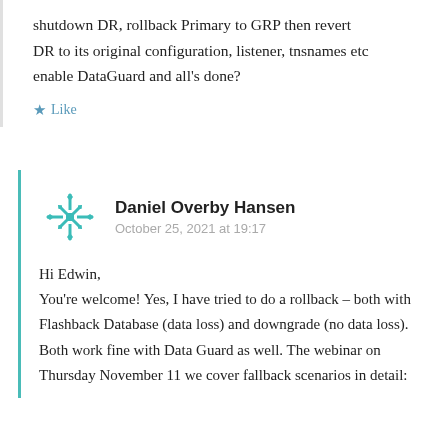shutdown DR, rollback Primary to GRP then revert DR to its original configuration, listener, tnsnames etc enable DataGuard and all's done?
★ Like
Daniel Overby Hansen
October 25, 2021 at 19:17
Hi Edwin,
You're welcome! Yes, I have tried to do a rollback – both with Flashback Database (data loss) and downgrade (no data loss). Both work fine with Data Guard as well. The webinar on Thursday November 11 we cover fallback scenarios in detail: